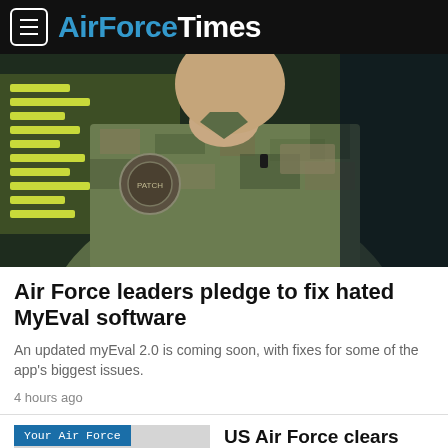AirForceTimes
[Figure (photo): Close-up of an Air Force servicemember in camouflage uniform with unit patch on sleeve, photographed against a blurred background]
Air Force leaders pledge to fix hated MyEval software
An updated myEval 2.0 is coming soon, with fixes for some of the app's biggest issues.
4 hours ago
Your Air Force
[Figure (photo): Thumbnail image placeholder for article about US Air Force Ospreys]
US Air Force clears Ospreys to fly amid unresolved clutch problem